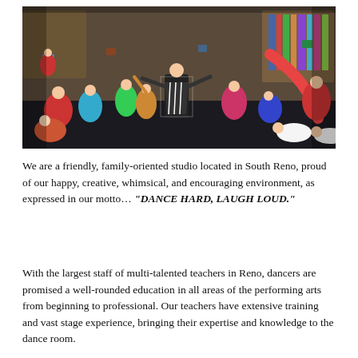[Figure (photo): Children and a teacher dancing enthusiastically on a stage with a colorful storybook-themed backdrop. Many kids are in various dance poses with arms raised and legs lifted. The teacher in the center wears a black and white patterned outfit.]
We are a friendly, family-oriented studio located in South Reno, proud of our happy, creative, whimsical, and encouraging environment, as expressed in our motto… "DANCE HARD, LAUGH LOUD."
With the largest staff of multi-talented teachers in Reno, dancers are promised a well-rounded education in all areas of the performing arts from beginning to professional. Our teachers have extensive training and vast stage experience, bringing their expertise and knowledge to the dance room.